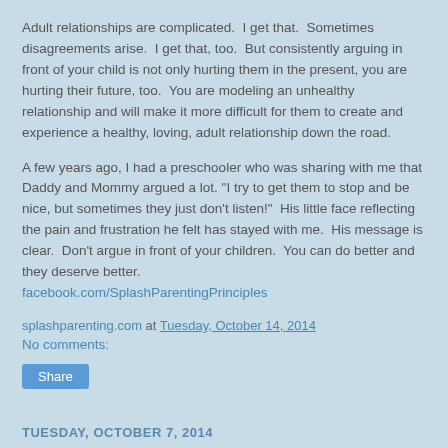Adult relationships are complicated.  I get that.  Sometimes disagreements arise.  I get that, too.  But consistently arguing in front of your child is not only hurting them in the present, you are hurting their future, too.  You are modeling an unhealthy relationship and will make it more difficult for them to create and experience a healthy, loving, adult relationship down the road.
A few years ago, I had a preschooler who was sharing with me that Daddy and Mommy argued a lot. "I try to get them to stop and be nice, but sometimes they just don't listen!"  His little face reflecting the pain and frustration he felt has stayed with me.  His message is clear.  Don't argue in front of your children.  You can do better and they deserve better.
facebook.com/SplashParentingPrinciples
splashparenting.com at Tuesday, October 14, 2014
No comments:
Share
TUESDAY, OCTOBER 7, 2014